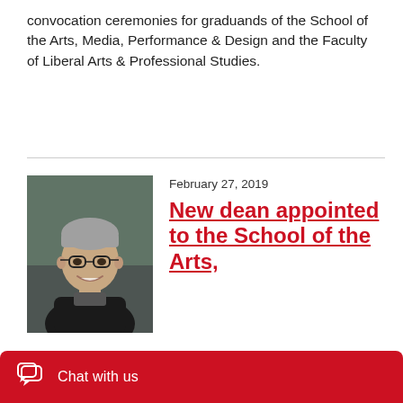convocation ceremonies for graduands of the School of the Arts, Media, Performance & Design and the Faculty of Liberal Arts & Professional Studies.
February 27, 2019
[Figure (photo): Portrait photo of a person with grey hair and glasses, smiling, wearing a dark jacket, photographed outdoors with blurred background.]
New dean appointed to the School of the Arts,
Chat with us